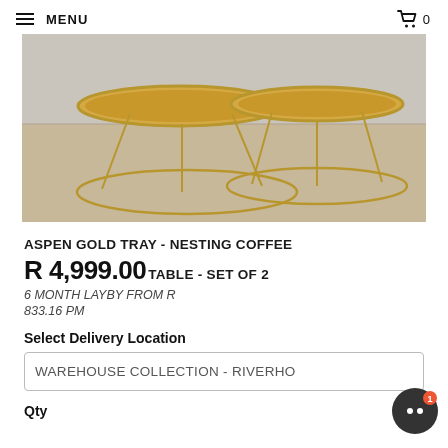MENU | 0
[Figure (photo): Two round gold tray nesting coffee tables with thin metal legs on a light wood floor against a grey background]
ASPEN GOLD TRAY - NESTING COFFEE TABLE - SET OF 2
R 4,999.00
6 MONTH LAYBY FROM R 833.16 PM
Select Delivery Location
WAREHOUSE COLLECTION - RIVERHO
Qty